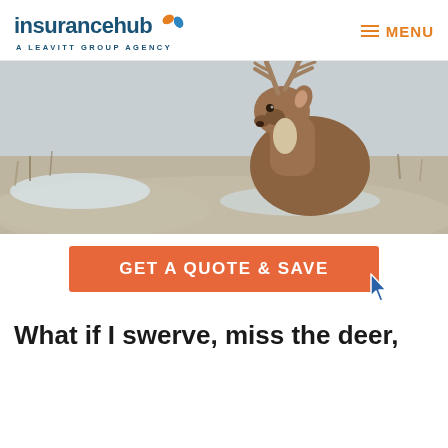insurancehub | A LEAVITT GROUP AGENCY | MENU
[Figure (photo): A white-tailed deer buck with large antlers standing in a snowy field with dry brush in the background]
GET A QUOTE & SAVE
What if I swerve, miss the deer,